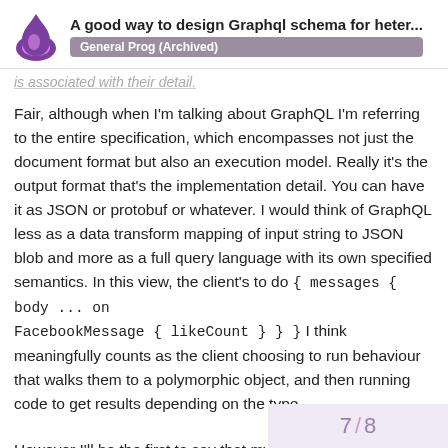A good way to design Graphql schema for heter... General Prog (Archived)
is associated with their detail.
Fair, although when I'm talking about GraphQL I'm referring to the entire specification, which encompasses not just the document format but also an execution model. Really it's the output format that's the implementation detail. You can have it as JSON or protobuf or whatever. I would think of GraphQL less as a data transform mapping of input string to JSON blob and more as a full query language with its own specified semantics. In this view, the client's to do { messages { body ... on FacebookMessage { likeCount } } } I think meaningfully counts as the client choosing to run behaviour that walks them to a polymorphic object, and then running code to get results depending on the type.
However I'll be the first to say that my formal education here is limited, and I could be entirely wrong 🙂
7 / 8